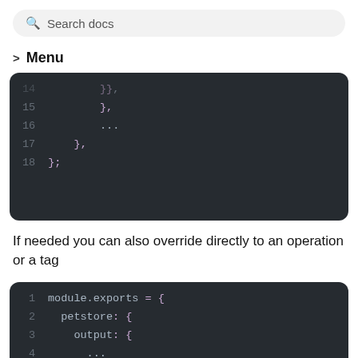Search docs
> Menu
[Figure (screenshot): Code block showing lines 14-18 of JavaScript code with closing braces: line 15 shows '},' line 16 shows '...' line 17 shows '},' line 18 shows '};']
If needed you can also override directly to an operation or a tag
[Figure (screenshot): Code block showing lines 1-7 of JavaScript module.exports object with petstore, output, override, operations, and listPets properties]